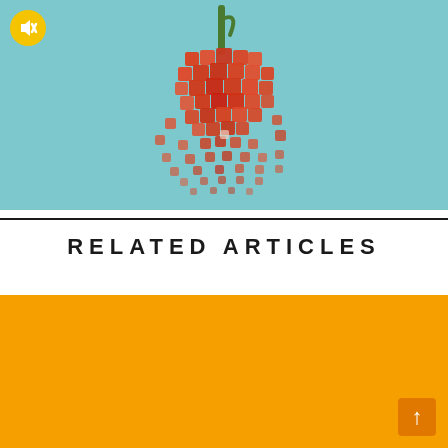[Figure (photo): A red bell pepper that appears to be exploding or disintegrating into small cubed pieces, falling downward against a teal/light blue background. A mute/speaker icon button appears in the top-left corner.]
RELATED ARTICLES
[Figure (photo): An orange colored rectangular block/image placeholder, with a small scroll-up arrow button in the bottom-right corner.]